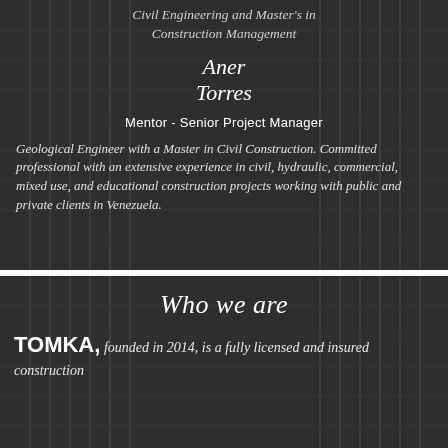Civil Engineering and Master's in Construction Management
Aner Torres
Mentor - Senior Project Manager
Geological Engineer with a Master in Civil Construction. Committed professional with an extensive experience in civil, hydraulic, commercial, mixed use, and educational construction projects working with public and private clients in Venezuela.
Who we are
TOMKA, founded in 2014, is a fully licensed and insured construction